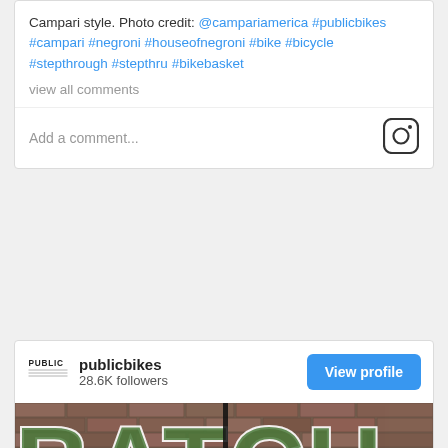Campari style. Photo credit: @campariamerica #publicbikes #campari #negroni #houseofnegroni #bike #bicycle #stepthrough #stepthru #bikebasket
view all comments
Add a comment...
[Figure (logo): Instagram logo icon]
[Figure (logo): Public Bikes brand logo - small text logo]
publicbikes
28.6K followers
View profile
[Figure (photo): Photo of a brick wall with large 3D letters spelling BATCH filled with green plants and flowers, with a dog peeking out from behind a black pole in the center]